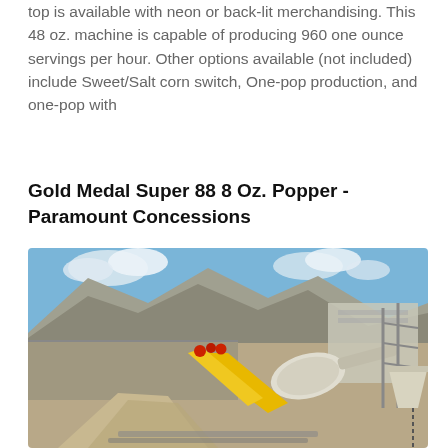top is available with neon or back-lit merchandising. This 48 oz. machine is capable of producing 960 one ounce servings per hour. Other options available (not included) include Sweet/Salt corn switch, One-pop production, and one-pop with
Learn More
Gold Medal Super 88 8 Oz. Popper - Paramount Concessions
[Figure (photo): Outdoor industrial/construction site scene showing a yellow chute or conveyor, a cement mixer drum, gravel piles, and rocky hillside in the background under a partly cloudy sky.]